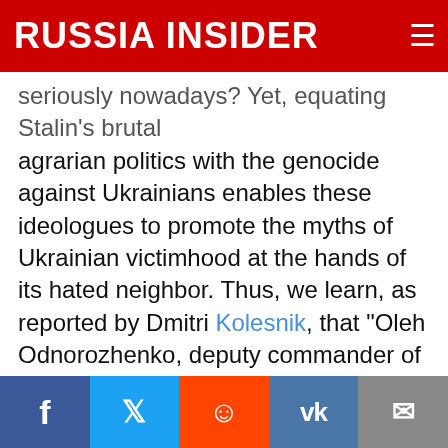RUSSIA INSIDER
seriously nowadays? Yet, equating Stalin's brutal agrarian politics with the genocide against Ukrainians enables these ideologues to promote the myths of Ukrainian victimhood at the hands of its hated neighbor. Thus, we learn, as reported by Dmitri Kolesnik, that "Oleh Odnorozhenko, deputy commander of the Azov Battalion defines Ukrainian war as the conflict of 'people with a European identity fighting with Sovietness.'" The very juxtaposition of such disparate concepts as 'European' and 'Soviet,' –skillfully implies that things Soviet are non-European and barbaric. Thus, the fight with Soviets becomes civilizational rather than genocidal project. Just a few days
Facebook Twitter Reddit VK Email